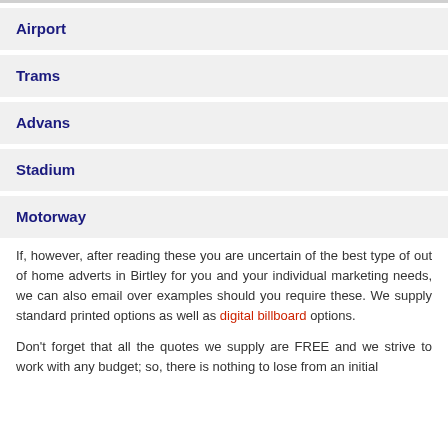Airport
Trams
Advans
Stadium
Motorway
If, however, after reading these you are uncertain of the best type of out of home adverts in Birtley for you and your individual marketing needs, we can also email over examples should you require these. We supply standard printed options as well as digital billboard options.
Don't forget that all the quotes we supply are FREE and we strive to work with any budget; so, there is nothing to lose from an initial